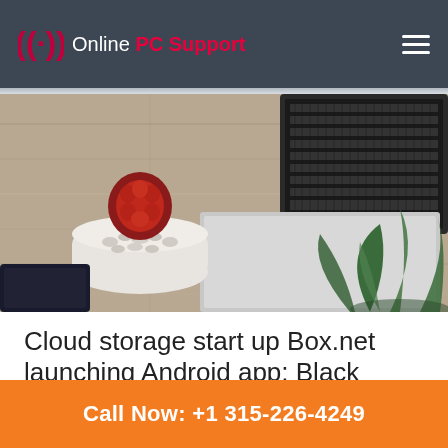Online PC Support
[Figure (photo): Overhead view of a wooden desk with a laptop keyboard, a small cactus in a white pot with pebbles, a black notebook, and a green plant, shot from above in muted tones.]
Cloud storage start up Box.net launching Android app; Black Berry's app in the work
Call Now: +1 315-226-4249